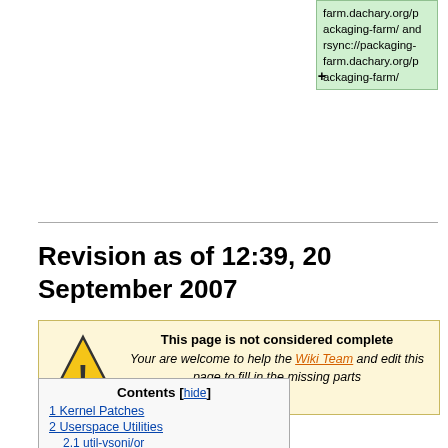[Figure (other): Partial green box showing URLs: farm.dachary.org/packaging-farm/ and rsync://packaging-farm.dachary.org/packaging-farm/]
Revision as of 12:39, 20 September 2007
[Figure (other): Warning box with yellow triangle exclamation icon. Text: This page is not considered complete. Your are welcome to help the Wiki Team and edit this page to fill in the missing parts]
Contents [hide]
1 Kernel Patches
2 Userspace Utilities
2.1 util-vsoni/or